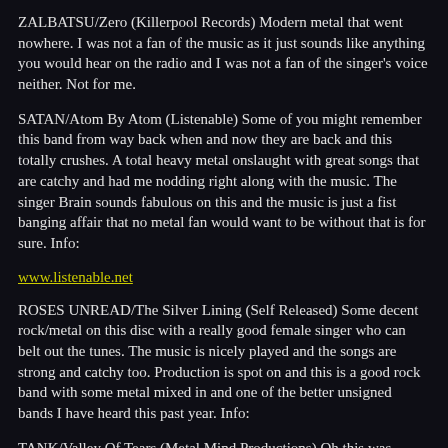ZALBATSU/Zero (Killerpool Records) Modern metal that went nowhere. I was not a fan of the music as it just sounds like anything you would hear on the radio and I was not a fan of the singer's voice neither. Not for me.
SATAN/Atom By Atom (Listenable) Some of you might remember this band from way back when and now they are back and this totally crushes. A total heavy metal onslaught with great songs that are catchy and had me nodding right along with the music. The singer Brain sounds fabulous on this and the music is just a fist banging affair that no metal fan would want to be without that is for sure. Info:
www.listenable.net
ROSES UNREAD/The Silver Lining (Self Released) Some decent rock/metal on this disc with a really good female singer who can belt out the tunes. The music is nicely played and the songs are strong and catchy too. Production is spot on and this is a good rock band with some metal mixed in and one of the better unsigned bands I have heard this past year. Info:
TANK/Valley Of Tears (Metal Mind Productions) Oh this was awesome. Tank were a band back on the NWOBHM era and they are back and this is just such a great pure heavy metal record. Riffs